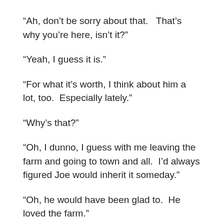“Ah, don’t be sorry about that.  That’s why you’re here, isn’t it?”
“Yeah, I guess it is.”
“For what it’s worth, I think about him a lot, too.  Especially lately.”
“Why’s that?”
“Oh, I dunno, I guess with me leaving the farm and going to town and all.  I’d always figured Joe would inherit it someday.”
“Oh, he would have been glad to.  He loved the farm.”
“Yes, he did.  He was my right-hand man once he was old…